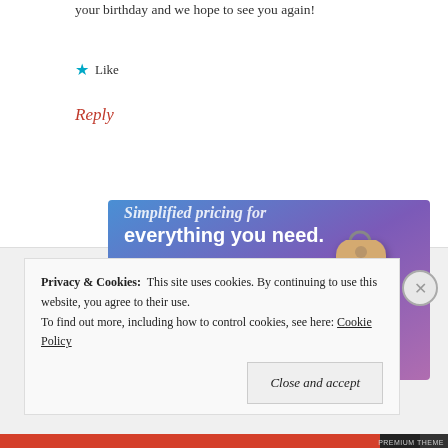your birthday and we hope to see you again!
★ Like
Reply
[Figure (illustration): Website builder advertisement banner with blue-to-purple gradient background, text 'Simplified pricing for everything you need.', a pink 'Build Your Website' button, and a 3D price tag image on the right side.]
Privacy & Cookies:  This site uses cookies. By continuing to use this website, you agree to their use.
To find out more, including how to control cookies, see here: Cookie Policy
Close and accept